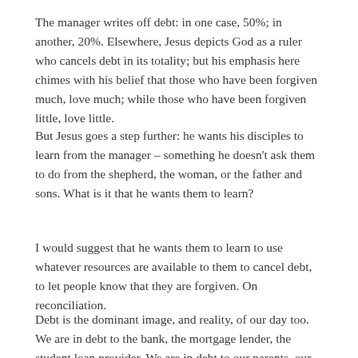The manager writes off debt: in one case, 50%; in another, 20%. Elsewhere, Jesus depicts God as a ruler who cancels debt in its totality; but his emphasis here chimes with his belief that those who have been forgiven much, love much; while those who have been forgiven little, love little.
But Jesus goes a step further: he wants his disciples to learn from the manager – something he doesn't ask them to do from the shepherd, the woman, or the father and sons. What is it that he wants them to learn?
I would suggest that he wants them to learn to use whatever resources are available to them to cancel debt, to let people know that they are forgiven. On reconciliation.
Debt is the dominant image, and reality, of our day too. We are in debt to the bank, the mortgage lender, the student loan provider. We are in debt to our parents, our lovers, our